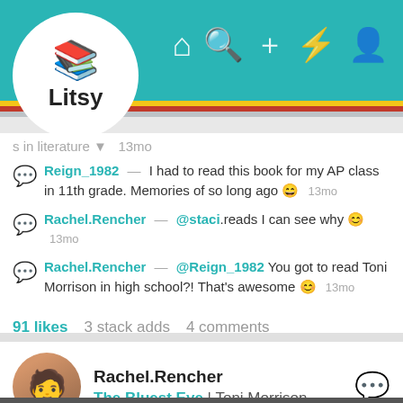[Figure (screenshot): Litsy app navigation bar with teal background, logo circle (books icon + 'Litsy' text), and nav icons: home, search, plus, lightning, person]
s in literature ▼  13mo
Reign_1982 — I had to read this book for my AP class in 11th grade. Memories of so long ago 😄  13mo
Rachel.Rencher — @staci.reads I can see why 😊  13mo
Rachel.Rencher — @Reign_1982 You got to read Toni Morrison in high school?! That's awesome 😊  13mo
91 likes  3 stack adds  4 comments
Rachel.Rencher — The Bluest Eye | Toni Morrison